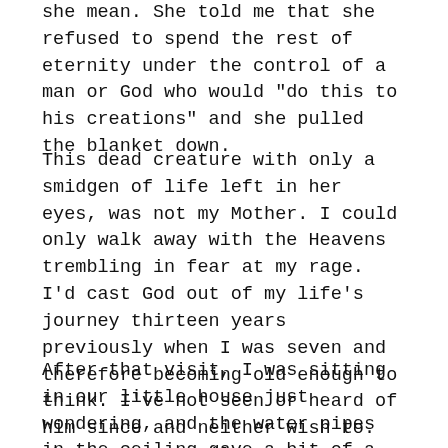she mean. She told me that she refused to spend the rest of eternity under the control of a man or God who would "do this to his creations" and she pulled the blanket down.
This dead creature with only a smidgen of life left in her eyes, was not my Mother. I could only walk away with the Heavens trembling in fear at my rage. I'd cast God out of my life's journey thirteen years previously when I was seven and therefore becoming old enough to think. I've not seen or heard of him since and neither wish to. The anger prevails.
After that visit, I was sitting in our little house just wondering, and the water pipes in the ceiling gave a bit of a knocking but they